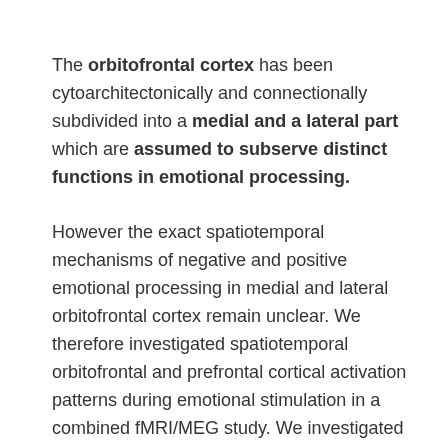The orbitofrontal cortex has been cytoarchitectonically and connectionally subdivided into a medial and a lateral part which are assumed to subserve distinct functions in emotional processing.
However the exact spatiotemporal mechanisms of negative and positive emotional processing in medial and lateral orbitofrontal cortex remain unclear. We therefore investigated spatiotemporal orbitofrontal and prefrontal cortical activation patterns during emotional stimulation in a combined fMRI/MEG study. We investigated 10 healthy subjects, 5 women and 5 men. Positive and negative pictures from the International Affective Picture system (IAPS) were used for emotional stimulation, whereas neutral and grey pictures were taken as